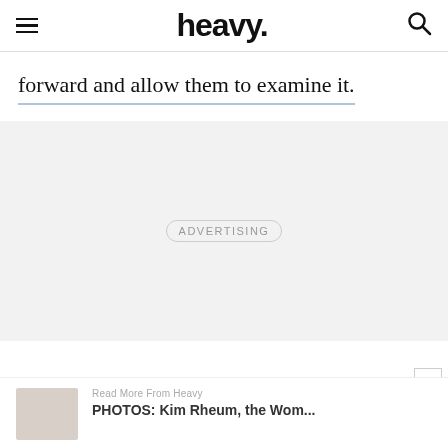heavy.
forward and allow them to examine it.
ADVERTISING
Read More From Heavy
PHOTOS: Kim Rheum, the Wom...